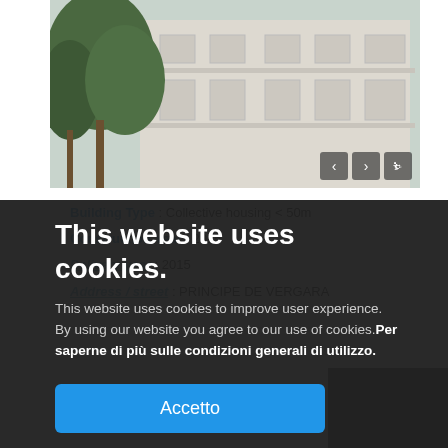[Figure (photo): Exterior photo of a building with trees, white/beige facade with windows and balconies. Navigation arrows visible at bottom right of image.]
Building Type : Collective housing < 50m
Construction Year : 2015
Delivery year : 2015
Address / street : PRINCIPE DE VERGARA
This website uses cookies.
This website uses cookies to improve user experience. By using our website you agree to our use of cookies. Per saperne di più sulle condizioni generali di utilizzo.
Accetto